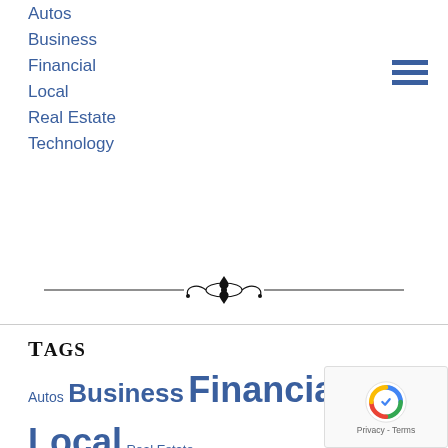Autos
Business
Financial
Local
Real Estate
Technology
[Figure (illustration): Decorative ornamental divider with floral/scroll motif centered on horizontal lines]
Tags
Autos Business Financial Local Real Estate Technology
[Figure (illustration): Decorative ornamental divider with floral/scroll motif centered on horizontal lines]
Kohl's, BJ's